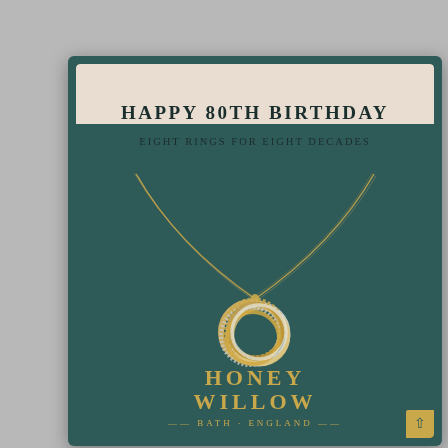[Figure (photo): A jewelry gift box from Honey Willow, Bath England. The box has a dark teal/green exterior. Inside, a beige/cream card at the top reads 'HAPPY 80TH BIRTHDAY' in bold letters, with 'EIGHT RINGS FOR EIGHT DECADES' below in smaller spaced lettering. The dark teal card forms a chevron/V shape below the text. A gold necklace with eight interlocking rings pendant is displayed on the dark teal background. At the bottom of the box, the brand name 'HONEY WILLOW' and 'BATH · ENGLAND' appear in gold lettering. A small gold square button is in the bottom right corner.]